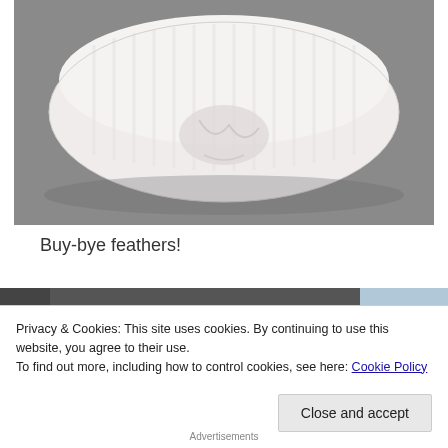[Figure (photo): A white striped pillow lying flat on a grey carpet, photographed from above. The pillow appears slightly wrinkled with a dent/indent in the center.]
Buy-bye feathers!
[Figure (photo): Partial view of a second photo strip — appears to show a darker background with a blue/white object on the right side.]
Privacy & Cookies: This site uses cookies. By continuing to use this website, you agree to their use.
To find out more, including how to control cookies, see here: Cookie Policy
Close and accept
Advertisements